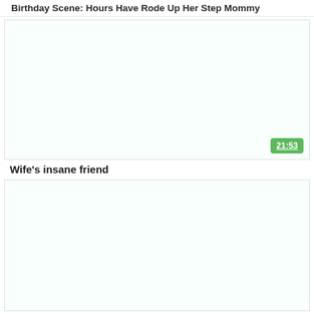Birthday Scene: Hours Have Rode Up Her Step Mommy
[Figure (screenshot): Video thumbnail placeholder - white/light area with green duration badge showing 21:53]
Wife's insane friend
[Figure (screenshot): Second video thumbnail placeholder - white/light area]